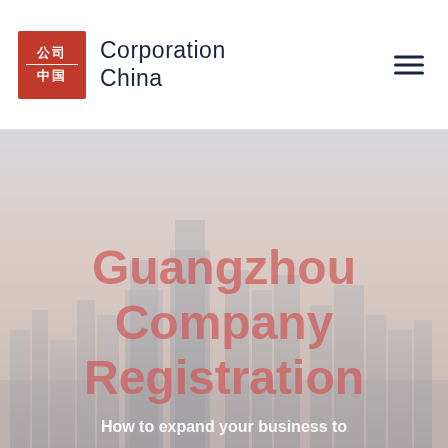[Figure (logo): Corporation China logo — red square with Chinese characters 公司 and 中国, beside bold text 'Corporation China']
Guangzhou Company Registration
How to expand your business to